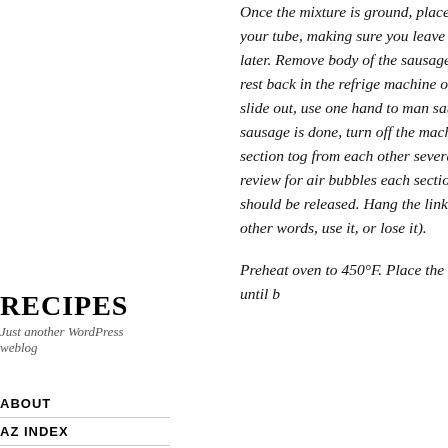Recipes
Just another WordPress weblog
ABOUT
AZ INDEX
FEED
Once the mixture is ground, place in the water, and rinse a few times. Using your tube, making sure you leave about 6 inch need to tie the sausage off later. Remove body of the sausage stuffing machine. If kidding), place the rest back in the refrige machine on, and begin the process – air begins to slide out, use one hand to man sausage emerge into one long coil – the sausage is done, turn off the machine, ar make individual links, pinch a section tog from each other several times, repeat thi links up so you can review for air bubbles each section that has an air bubble with n bubble should be released. Hang the link covered in the refrigerator overnight. Use other words, use it, or lose it).
Preheat oven to 450°F. Place the sausag about 4-5 minutes turning once or until b